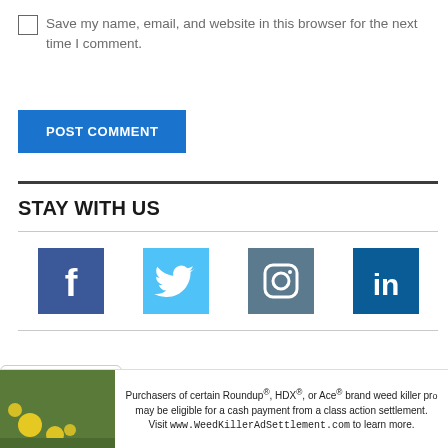Save my name, email, and website in this browser for the next time I comment.
POST COMMENT
STAY WITH US
[Figure (infographic): Row of four social media icons: Facebook (dark blue), Twitter (light blue), Instagram (dark teal/blue), LinkedIn (dark blue)]
[Figure (infographic): Advertisement banner: Purchasers of certain Roundup®, HDX®, or Ace® brand weed killer products may be eligible for a cash payment from a class action settlement. Visit www.WeedKillerAdSettlement.com to learn more.]